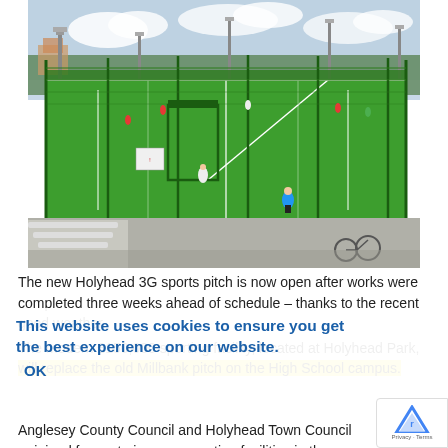[Figure (photo): Aerial/elevated view of a green 3G artificial turf sports pitch enclosed by metal fencing with floodlight poles, players visible on the pitch, concrete viewing area in foreground, residential buildings and trees visible in background under partly cloudy sky.]
The new Holyhead 3G sports pitch is now open after works were completed three weeks ahead of schedule – thanks to the recent good weather.
The modern £150,000 sporting facility, located at Holyhead Park, will replace the old Millbank pitch on the High School campus.
Anglesey County Council and Holyhead Town Council re joined forces to improve sporting facilities in the town. They
This website uses cookies to ensure you get the best experience on our website.